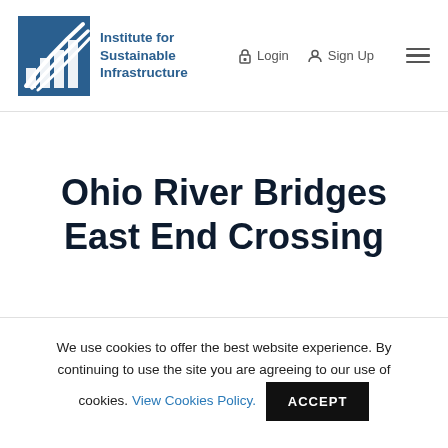[Figure (logo): Institute for Sustainable Infrastructure logo with blue geometric icon and text]
Login   Sign Up
Ohio River Bridges East End Crossing
We use cookies to offer the best website experience. By continuing to use the site you are agreeing to our use of cookies. View Cookies Policy.   ACCEPT